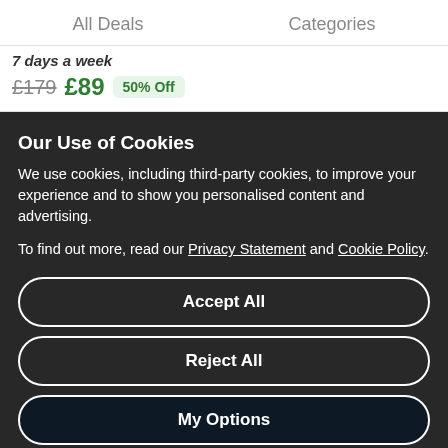All Deals   Categories
7 days a week
£179  £89  50% Off
Our Use of Cookies
We use cookies, including third-party cookies, to improve your experience and to show you personalised content and advertising.
To find out more, read our Privacy Statement and Cookie Policy.
Accept All
Reject All
My Options